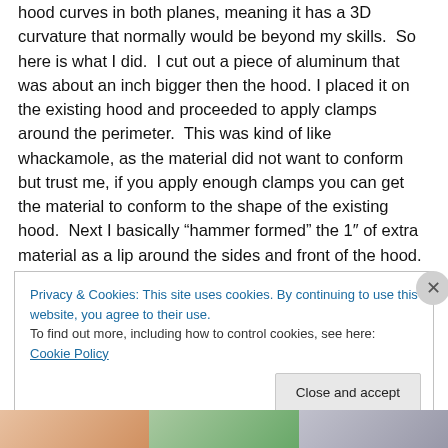hood curves in both planes, meaning it has a 3D curvature that normally would be beyond my skills. So here is what I did. I cut out a piece of aluminum that was about an inch bigger then the hood. I placed it on the existing hood and proceeded to apply clamps around the perimeter. This was kind of like whackamole, as the material did not want to conform but trust me, if you apply enough clamps you can get the material to conform to the shape of the existing hood. Next I basically "hammer formed" the 1" of extra material as a lip around the sides and front of the hood. Since the lip is describing a arc, you have to wrinkle
Privacy & Cookies: This site uses cookies. By continuing to use this website, you agree to their use.
To find out more, including how to control cookies, see here: Cookie Policy
[Figure (photo): Partial bottom strip showing colorful images, cropped at page bottom]